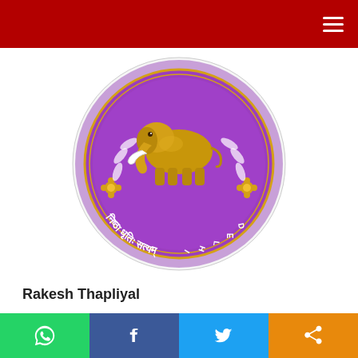[Figure (logo): Delhi University official seal/logo: circular purple badge with gold elephant in center, Sanskrit text 'निष्ठा धृतिः सत्यम्' at bottom, decorative elements including flowers and leaves, text 'DELHI' on right side]
Rakesh Thapliyal
New Delhi: It may look strange but this is happening in University of Delhi. Inter University Cricket Tournament will start from June 16 and Trials to select the Delhi University team is scheduled on June 14. This information is given in a letter, dated 10-6-2022, of Delhi University
[Figure (infographic): Social share bar with four buttons: WhatsApp (green), Facebook (dark blue), Twitter (light blue), Share/other (orange)]